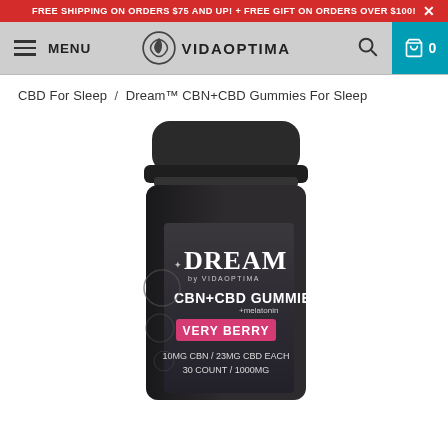FREE SHIPPING ON ORDERS $75 AND UP! + FREE GIFT ON ORDERS OVER $100!
MENU | VIDA OPTIMA | 0
CBD For Sleep / Dream™ CBN+CBD Gummies For Sleep
[Figure (photo): Product photo of a dark/black jar with black lid labeled DREAM by VIDAOPTIMA, CBN+CBD GUMMIES +melatonin, VERY BERRY flavor, 10MG CBN / 23MG CBD EACH, 30 COUNT / 1000MG]